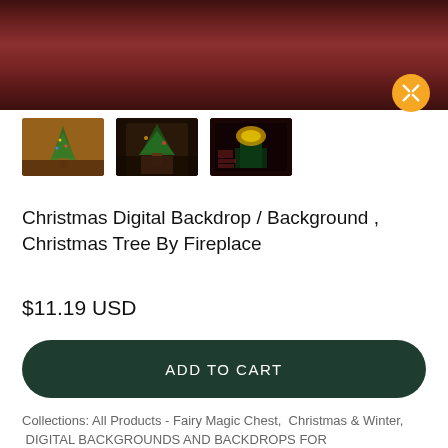[Figure (photo): Main product image showing a dark Christmas-themed digital backdrop with red and dark tones, with an orange expand/fullscreen button in the bottom right]
[Figure (photo): Three thumbnail images of Christmas digital backdrops: a warm Christmas tree by fireplace scene, a dark fireplace scene, and a dark red scene with glowing green gift box]
Christmas Digital Backdrop / Background , Christmas Tree By Fireplace
$11.19 USD
ADD TO CART
Collections: All Products - Fairy Magic Chest,  Christmas & Winter,  DIGITAL BACKGROUNDS AND BACKDROPS FOR PHOTOGRAPHY,